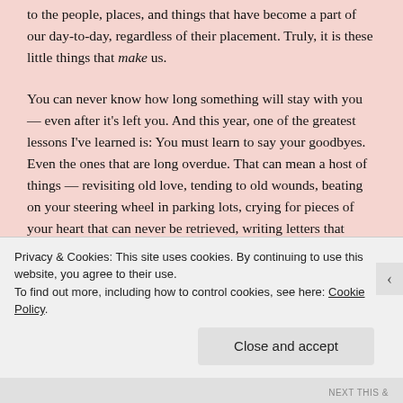…attention in our lives and how homage must be paid to the people, places, and things that have become a part of our day-to-day, regardless of their placement. Truly, it is these little things that make us.
You can never know how long something will stay with you — even after it's left you. And this year, one of the greatest lessons I've learned is: You must learn to say your goodbyes. Even the ones that are long overdue. That can mean a host of things — revisiting old love, tending to old wounds, beating on your steering wheel in parking lots, crying for pieces of your heart that can never be retrieved, writing letters that you'll never send because, no matter what you have to say — some words aren't meant to be read or
Privacy & Cookies: This site uses cookies. By continuing to use this website, you agree to their use.
To find out more, including how to control cookies, see here: Cookie Policy